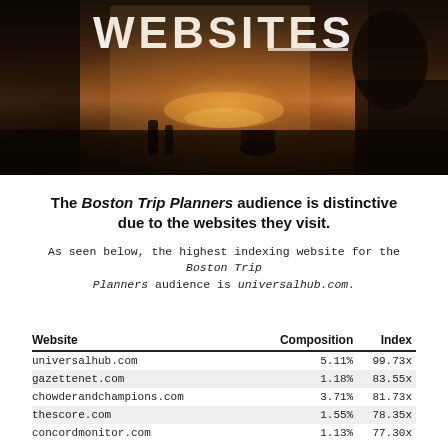[Figure (photo): Dark atmospheric photo of a person sitting by a window at sunset/dusk with a mug, warm orange glow backlighting the scene. The word WEBSITES appears in large white bold uppercase letters at the top.]
The Boston Trip Planners audience is distinctive due to the websites they visit.
As seen below, the highest indexing website for the Boston Trip Planners audience is universalhub.com.
| Website | Composition | Index |
| --- | --- | --- |
| universalhub.com | 5.11% | 99.73x |
| gazettenet.com | 1.18% | 83.55x |
| chowderandchampions.com | 3.71% | 81.73x |
| thescore.com | 1.55% | 78.35x |
| concordmonitor.com | 1.13% | 77.30x |